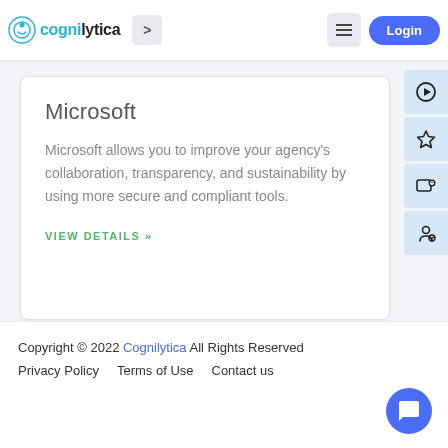Cognilytica > [hamburger] Login
Microsoft
Microsoft allows you to improve your agency's collaboration, transparency, and sustainability by using more secure and compliant tools.
VIEW DETAILS »
Copyright © 2022 Cognilytica All Rights Reserved Privacy Policy   Terms of Use   Contact us